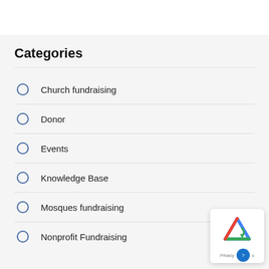Categories
Church fundraising
Donor
Events
Knowledge Base
Mosques fundraising
Nonprofit Fundraising